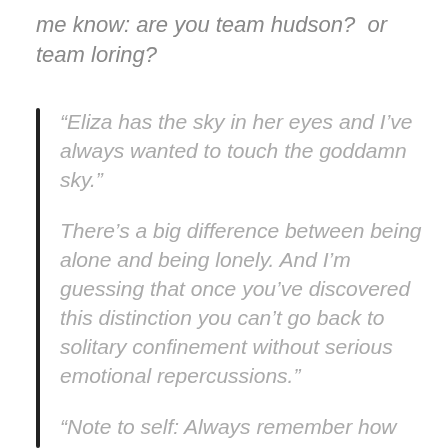me know: are you team hudson?  or team loring?
“Eliza has the sky in her eyes and I’ve always wanted to touch the goddamn sky.”
There’s a big difference between being alone and being lonely. And I’m guessing that once you’ve discovered this distinction you can’t go back to solitary confinement without serious emotional repercussions.”
“Note to self: Always remember how